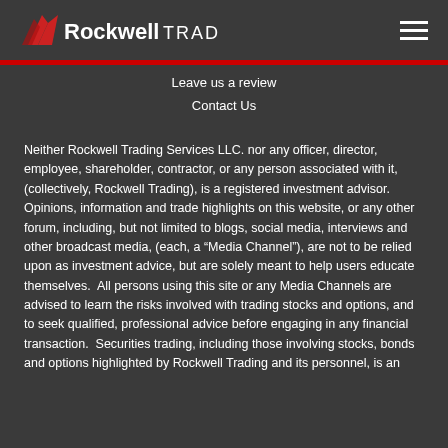[Figure (logo): Rockwell Trading logo with red wing/chevron icon and white text]
Leave us a review
Contact Us
Neither Rockwell Trading Services LLC. nor any officer, director, employee, shareholder, contractor, or any person associated with it, (collectively, Rockwell Trading), is a registered investment advisor. Opinions, information and trade highlights on this website, or any other forum, including, but not limited to blogs, social media, interviews and other broadcast media, (each, a “Media Channel”), are not to be relied upon as investment advice, but are solely meant to help users educate themselves.  All persons using this site or any Media Channels are advised to learn the risks involved with trading stocks and options, and to seek qualified, professional advice before engaging in any financial transaction.  Securities trading, including those involving stocks, bonds and options highlighted by Rockwell Trading and its personnel, is an